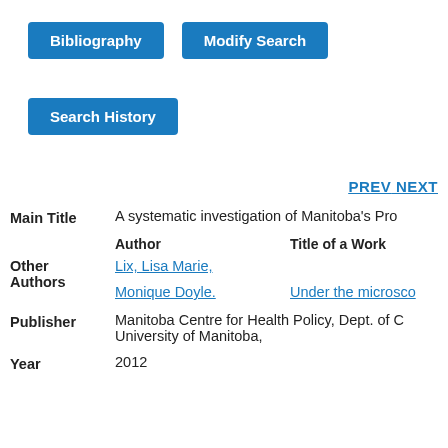Bibliography
Modify Search
Search History
PREV NEXT
| Field | Author | Title of a Work |
| --- | --- | --- |
| Main Title | A systematic investigation of Manitoba's Pro |  |
| Other Authors | Lix, Lisa Marie, |  |
| Other Authors | Monique Doyle. | Under the microsco |
| Publisher | Manitoba Centre for Health Policy, Dept. of C University of Manitoba, |  |
| Year | 2012 |  |